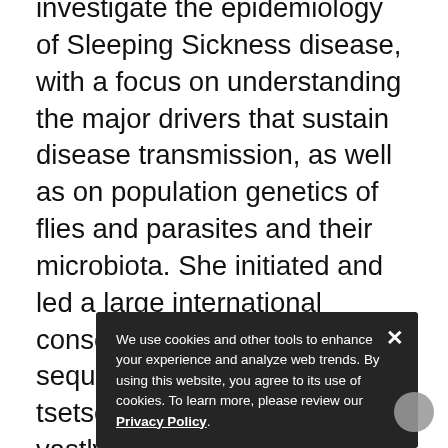investigate the epidemiology of Sleeping Sickness disease, with a focus on understanding the major drivers that sustain disease transmission, as well as on population genetics of flies and parasites and their microbiota. She initiated and led a large international consortium that eventually sequenced the genome of six tsetse fly species. This effort vastly expanded molecular knowledge and genomic resources on this neglected disease vector, and collectively expanded research capacity in bioinformatics and functional biology in many laboratories in sub-Saharan Africa. As the Editor-in-Chief of the journal PLOS Neglected Tropical Diseases between 2007-2020, she has been a major voice for building research and publication capacity for
We use cookies and other tools to enhance your experience and analyze web trends. By using this website, you agree to its use of cookies. To learn more, please review our Privacy Policy.